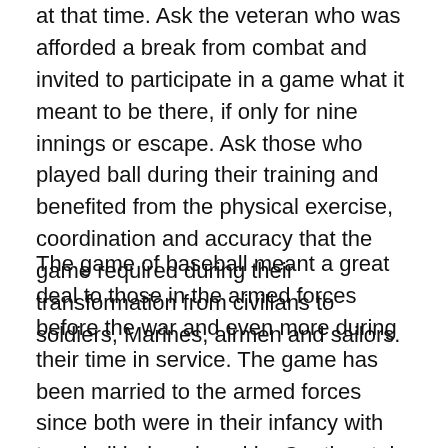at that time. Ask the veteran who was afforded a break from combat and invited to participate in a game what it meant to be there, if only for nine innings or escape. Ask those who played ball during their training and benefited from the physical exercise, coordination and accuracy that the game required during their transformation from civilians to soldiers, Marines, airmen and sailors.
The game of baseball meant a great deal to those in the armed forces before the war and even more during their time in service. The game has been married to the armed forces since both were in their infancy with townball being played by Continental soldiers. Union troops played ball in the Civil War as both soldiers and captives and the game was taken with American fighting men to far off lands such as the Philippines, China, Australia, Europe, the Middle